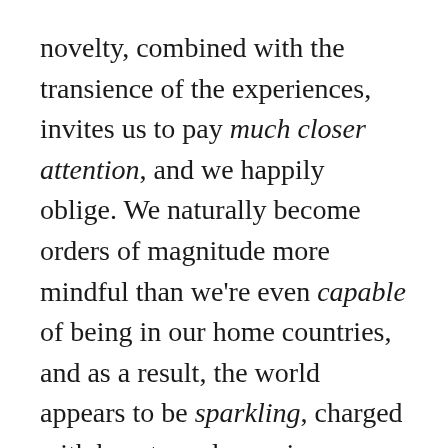novelty, combined with the transience of the experiences, invites us to pay much closer attention, and we happily oblige. We naturally become orders of magnitude more mindful than we're even capable of being in our home countries, and as a result, the world appears to be sparkling, charged with beauty and meaning.
This truth was once expressed quite eloquently in a post on Reddit by user: 78fivealive